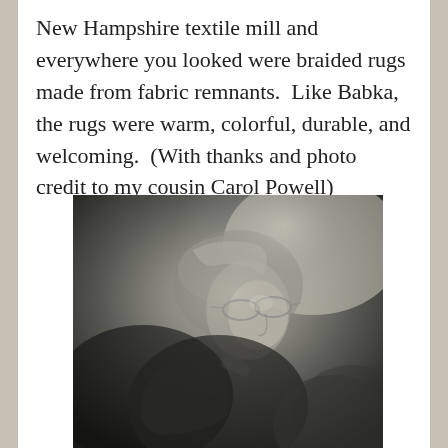New Hampshire textile mill and everywhere you looked were braided rugs made from fabric remnants.  Like Babka, the rugs were warm, colorful, durable, and welcoming.  (With thanks and photo credit to my cousin Carol Powell)
[Figure (photo): Black and white photograph of an elderly woman wearing a head scarf and glasses, shown in profile/three-quarter view, looking to the right. She is wearing a dark coat or shawl. The photo has a vintage quality.]